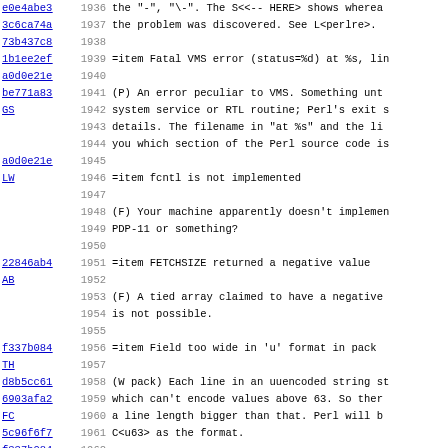Source code viewer showing Perl documentation lines 1936-1968 with hash annotations and line numbers. Content includes error messages and documentation for Fatal VMS error, fcntl is not implemented, FETCHSIZE returned a negative value, Field too wide in 'u' format in pack, Filehandle %s opened only for input.